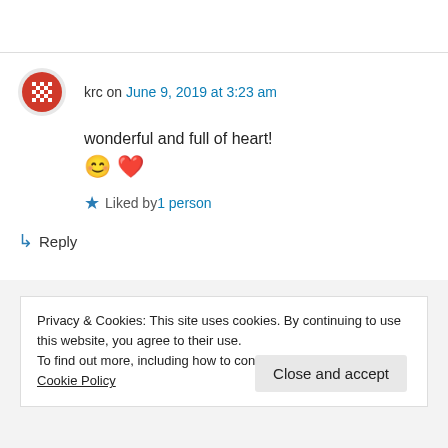krc on June 9, 2019 at 3:23 am
wonderful and full of heart! 😊 ❤️
Liked by 1 person
↳ Reply
Privacy & Cookies: This site uses cookies. By continuing to use this website, you agree to their use.
To find out more, including how to control cookies, see here: Cookie Policy
Close and accept